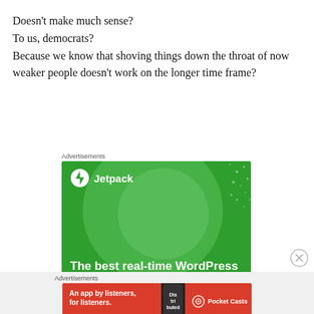Doesn't make much sense?
To us, democrats?
Because we know that shoving things down the throat of now weaker people doesn't work on the longer time frame?
[Figure (screenshot): Jetpack WordPress backup plugin advertisement banner on green background with logo and tagline 'The best real-time WordPress backup plugin']
[Figure (screenshot): Pocket Casts podcast app advertisement banner on red background: 'An app by listeners, for listeners.']